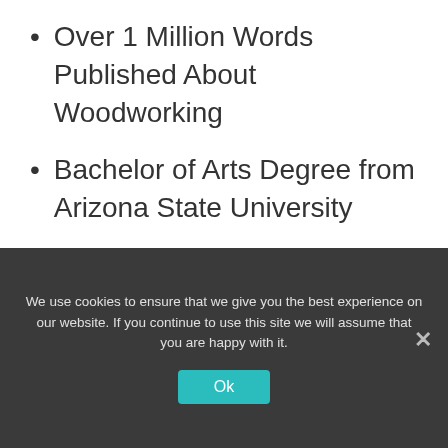Over 1 Million Words Published About Woodworking
Bachelor of Arts Degree from Arizona State University
[Figure (other): Orange button labeled 'Buy My Books on Amazon']
I receive Commissions for Purchases Made Through the Links in This Post.
We use cookies to ensure that we give you the best experience on our website. If you continue to use this site we will assume that you are happy with it.